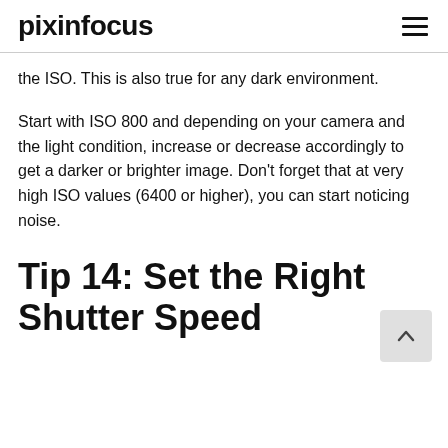pixinfocus
the ISO. This is also true for any dark environment.
Start with ISO 800 and depending on your camera and the light condition, increase or decrease accordingly to get a darker or brighter image. Don't forget that at very high ISO values (6400 or higher), you can start noticing noise.
Tip 14: Set the Right Shutter Speed